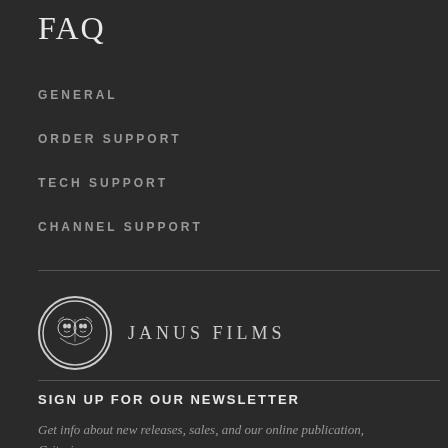FAQ
GENERAL
ORDER SUPPORT
TECH SUPPORT
CHANNEL SUPPORT
[Figure (logo): Janus Films logo: circular medallion with a two-faced head (Janus) illustration, beside text JANUS FILMS in spaced serif capitals]
SIGN UP FOR OUR NEWSLETTER
Get info about new releases, sales, and our online publication, Criterion...